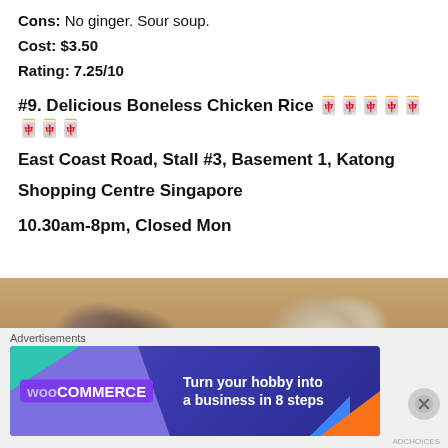Cons: No ginger. Sour soup.
Cost: $3.50
Rating: 7.25/10
#9. Delicious Boneless Chicken Rice 鸡饭鸡饭鸡饭鸡饭
East Coast Road, Stall #3, Basement 1, Katong Shopping Centre Singapore
10.30am-8pm, Closed Mon
[Figure (photo): Food photo showing bowls of chicken rice with soup and rice on a table]
Advertisements
[Figure (illustration): WooCommerce advertisement banner: Turn your hobby into a business in 8 steps]